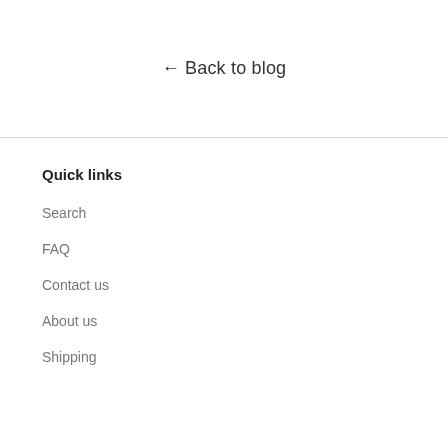← Back to blog
Quick links
Search
FAQ
Contact us
About us
Shipping